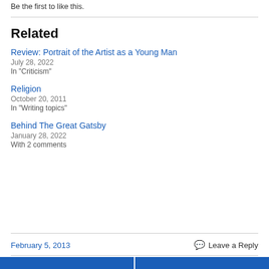Be the first to like this.
Related
Review: Portrait of the Artist as a Young Man
July 28, 2022
In "Criticism"
Religion
October 20, 2011
In "Writing topics"
Behind The Great Gatsby
January 28, 2022
With 2 comments
February 5, 2013
Leave a Reply